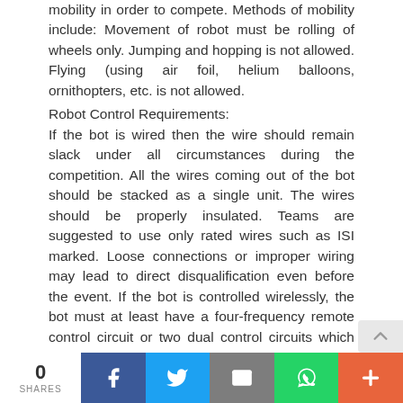mobility in order to compete. Methods of mobility include: Movement of robot must be rolling of wheels only. Jumping and hopping is not allowed. Flying (using air foil, helium balloons, ornithopters, etc. is not allowed.
Robot Control Requirements:
If the bot is wired then the wire should remain slack under all circumstances during the competition. All the wires coming out of the bot should be stacked as a single unit. The wires should be properly insulated. Teams are suggested to use only rated wires such as ISI marked. Loose connections or improper wiring may lead to direct disqualification even before the event. If the bot is controlled wirelessly, the bot must at least have a four-frequency remote control circuit or two dual control circuits which may be interchanged before the start of the race to avoid
0 SHARES